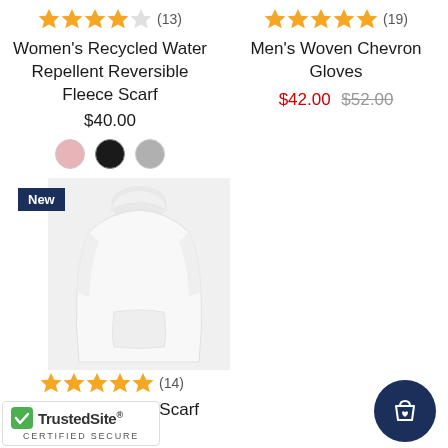[Figure (screenshot): Product listing page showing three items: Women's Recycled Water Repellent Reversible Fleece Scarf at $40.00 with color swatches, Men's Woven Chevron Gloves at $42.00 (sale from $52.00), and Women's Recycled Scarf Fringe with a white hoodie image and New badge.]
★★★★☆ (13) Women's Recycled Water Repellent Reversible Fleece Scarf $40.00
★★★★★ (19) Men's Woven Chevron Gloves $42.00 $52.00
New
★★★★★ (14) Women's Recycled Scarf Fringe $45.00
[Figure (logo): TrustedSite Certified Secure badge]
[Figure (illustration): Shopping bag with heart icon in dark navy circle]